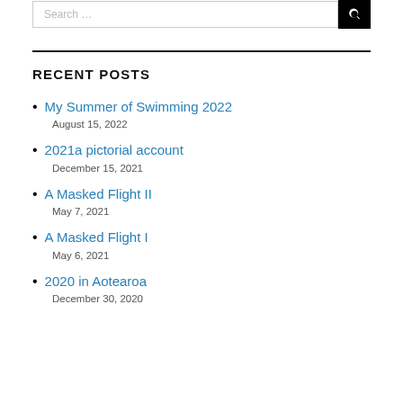RECENT POSTS
My Summer of Swimming 2022
August 15, 2022
2021a pictorial account
December 15, 2021
A Masked Flight II
May 7, 2021
A Masked Flight I
May 6, 2021
2020 in Aotearoa
December 30, 2020